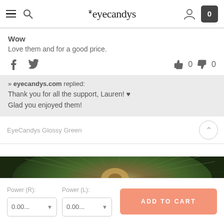eyecandys
Wow
Love them and for a good price.
>> eyecandys.com replied: Thank you for all the support, Lauren! ♥ Glad you enjoyed them!
EyeCandys Glossy Green
[Figure (photo): Close-up photo of green contact lens showing radiating fiber pattern with golden center]
Power (R): 0.00...
Power (L): 0.00...
ADD TO CART